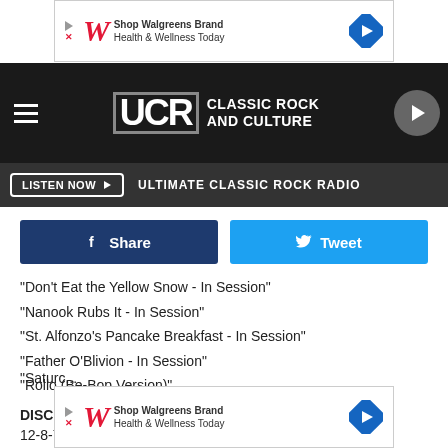[Figure (screenshot): Walgreens ad banner at top: Shop Walgreens Brand Health & Wellness Today]
[Figure (logo): UCR Classic Rock and Culture logo with hamburger menu and play button]
LISTEN NOW ▶  ULTIMATE CLASSIC ROCK RADIO
[Figure (screenshot): Facebook Share and Twitter Tweet social buttons]
"Don't Eat the Yellow Snow - In Session"
"Nanook Rubs It - In Session"
"St. Alfonzo's Pancake Breakfast - In Session"
"Father O'Blivion - In Session"
"Rollo (Be-Bop Version)"
DISC 7
12-8-73
"Saturc...
[Figure (screenshot): Walgreens ad banner at bottom: Shop Walgreens Brand Health & Wellness Today]